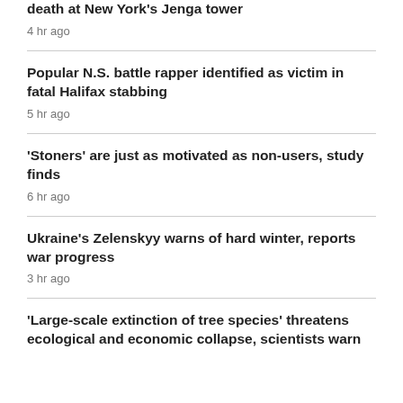death at New York's Jenga tower
4 hr ago
Popular N.S. battle rapper identified as victim in fatal Halifax stabbing
5 hr ago
'Stoners' are just as motivated as non-users, study finds
6 hr ago
Ukraine's Zelenskyy warns of hard winter, reports war progress
3 hr ago
'Large-scale extinction of tree species' threatens ecological and economic collapse, scientists warn